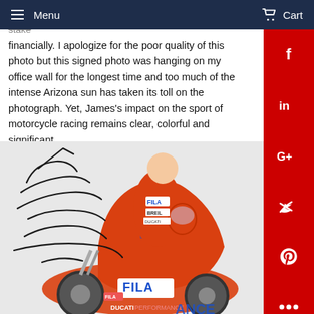Menu   Cart
pressures of these professional teams with so much at stake financially. I apologize for the poor quality of this photo but this signed photo was hanging on my office wall for the longest time and too much of the intense Arizona sun has taken its toll on the photograph. Yet, James's impact on the sport of motorcycle racing remains clear, colorful and significant.
[Figure (photo): Signed photo of a motorcycle racer in FILA/Ducati gear posing with a Ducati racing motorcycle. The rider wears an orange FILA/Breil/Ducati race suit and holds a helmet. The motorcycle is orange with FILA and Ducati Performance branding. An autograph/signature is overlaid on the left side of the photo.]